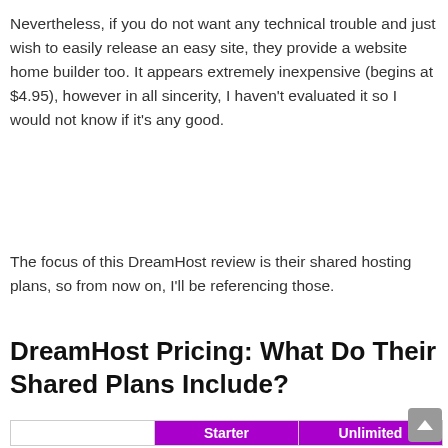Nevertheless, if you do not want any technical trouble and just wish to easily release an easy site, they provide a website home builder too. It appears extremely inexpensive (begins at $4.95), however in all sincerity, I haven't evaluated it so I would not know if it's any good.
The focus of this DreamHost review is their shared hosting plans, so from now on, I'll be referencing those.
DreamHost Pricing: What Do Their Shared Plans Include?
|  | Starter | Unlimited |
| --- | --- | --- |